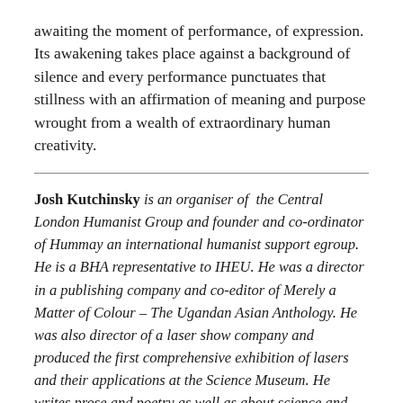awaiting the moment of performance, of expression. Its awakening takes place against a background of silence and every performance punctuates that stillness with an affirmation of meaning and purpose wrought from a wealth of extraordinary human creativity.
Josh Kutchinsky is an organiser of the Central London Humanist Group and founder and co-ordinator of Hummay an international humanist support egroup. He is a BHA representative to IHEU. He was a director in a publishing company and co-editor of Merely a Matter of Colour – The Ugandan Asian Anthology. He was also director of a laser show company and produced the first comprehensive exhibition of lasers and their applications at the Science Museum. He writes prose and poetry as well as about science and technology.